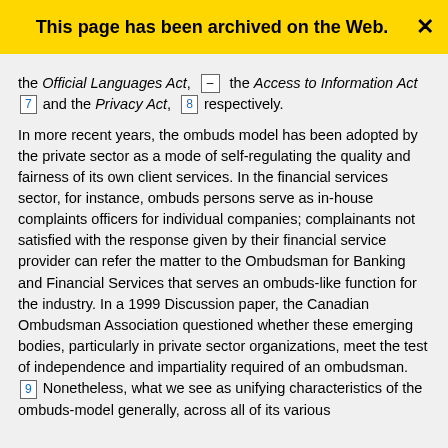This page has been archived on the Web.
the Official Languages Act, [–] the Access to Information Act [7] and the Privacy Act, [8] respectively.
In more recent years, the ombuds model has been adopted by the private sector as a mode of self-regulating the quality and fairness of its own client services. In the financial services sector, for instance, ombuds persons serve as in-house complaints officers for individual companies; complainants not satisfied with the response given by their financial service provider can refer the matter to the Ombudsman for Banking and Financial Services that serves an ombuds-like function for the industry. In a 1999 Discussion paper, the Canadian Ombudsman Association questioned whether these emerging bodies, particularly in private sector organizations, meet the test of independence and impartiality required of an ombudsman. [9] Nonetheless, what we see as unifying characteristics of the ombuds-model generally, across all of its various